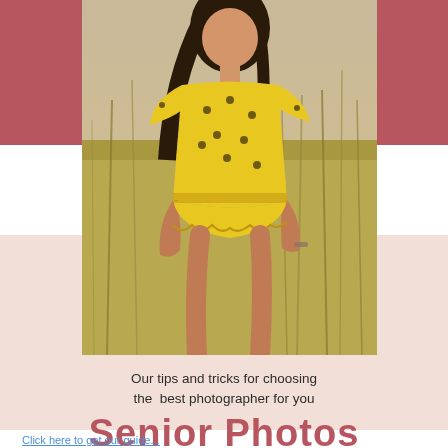[Figure (photo): Young woman in yellow floral romper standing in a golden grass field, long brown hair, posing with hand on hip]
Our tips and tricks for choosing the  best photographer for you
Senior Photos
Click here to get our guide...